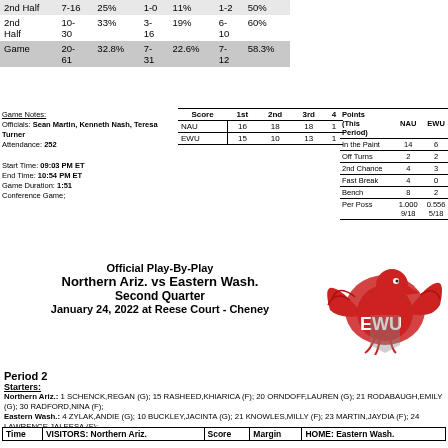|  |  |  |  |  |  |
| --- | --- | --- | --- | --- | --- |
| 2nd Half | 7- 16 | 25% | 1-0 | 11% | 1-2 | 50% |
| 2nd Half | 10-30 | 33% | 3-16 | 19% | 6-10 | 60% |
| Game | 20-61 | 32.8% | 7-31 | 22.6% | 7-12 | 58.3% |
Game Notes:
Officials: Sean Martin, Kenneth Nash, Teresa Turner
Attendance: 252

Start Time: 09:03 PM ET
End Time: 10:54 PM ET
Game Duration: 1:51
Conference Game;
| Score | 1st | 2nd | 3rd | 4 |
| --- | --- | --- | --- | --- |
| NAU | 16 | 18 | 18 | 1 |
| EWU | 15 | 10 | 13 | 1 |
| Points (This Period) | NAU | EWU |
| --- | --- | --- |
| In the Paint | 14 | 6 |
| Off Turns | 2 | 2 |
| 2nd Chance | 4 | 3 |
| Fast Break | 4 | 0 |
| Bench | 8 | 2 |
| Per Poss | 1.000 9/18 | 0.556 5/18 |
Official Play-By-Play
Northern Ariz. vs Eastern Wash.
Second Quarter
January 24, 2022 at Reese Court - Cheney
[Figure (logo): Eastern Washington University eagle logo in red and gray]
Period 2
Starters:
Northern Ariz.: 1 SCHENCK,REGAN (G); 15 RASHEED,KHIARICA (F); 20 ORNDOFF,LAUREN (G); 21 RODABAUGH,EMILY (G); 30 RADFORD,NINA (F);
Eastern Wash.: 4 ZYLAK,ANDIE (G); 10 BUCKLEY,JACINTA (G); 21 KNOWLES,MILLY (F); 23 MARTIN,JAYDIA (F); 24 LAWRENCE,JALEESA (F);
| Time | VISITORS: Northern Ariz. | Score | Margin | HOME: Eastern Wash. |
| --- | --- | --- | --- | --- |